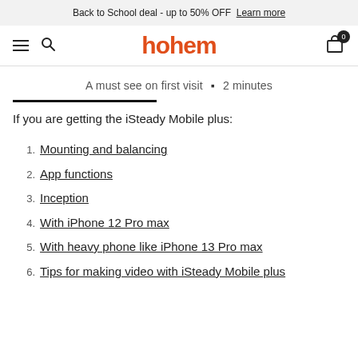Back to School deal - up to 50% OFF  Learn more
hohem
A must see on first visit  •  2 minutes
If you are getting the iSteady Mobile plus:
1. Mounting and balancing
2. App functions
3. Inception
4. With iPhone 12 Pro max
5. With heavy phone like iPhone 13 Pro max
6. Tips for making video with iSteady Mobile plus